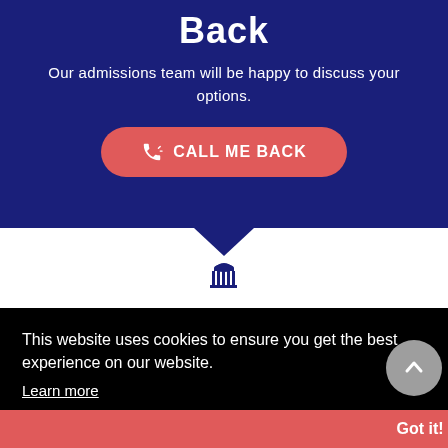Back
Our admissions team will be happy to discuss your options.
CALL ME BACK
[Figure (illustration): Building/institution icon]
This website uses cookies to ensure you get the best experience on our website.
Learn more
Got it!
Contact Us